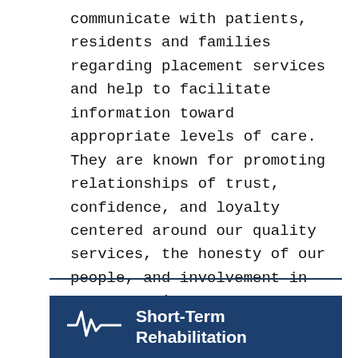communicate with patients, residents and families regarding placement services and help to facilitate information toward appropriate levels of care. They are known for promoting relationships of trust, confidence, and loyalty centered around our quality services, the honesty of our people, and involvement in our community.
[Figure (infographic): Dark blue banner with a heartbeat/EKG icon on the left and the text 'Short-Term Rehabilitation' in white bold font on the right]